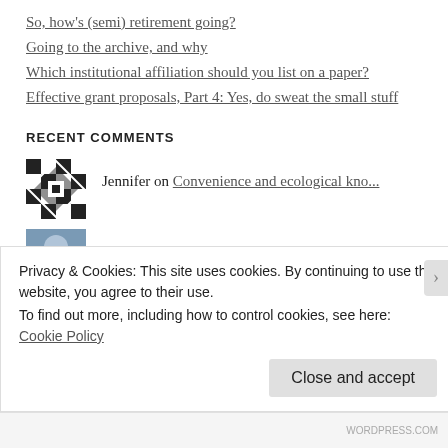So, how's (semi) retirement going?
Going to the archive, and why
Which institutional affiliation should you list on a paper?
Effective grant proposals, Part 4: Yes, do sweat the small stuff
RECENT COMMENTS
Jennifer on Convenience and ecological kno...
ScientistSeesSquirre... on Convenience and ecological kno...
Privacy & Cookies: This site uses cookies. By continuing to use this website, you agree to their use.
To find out more, including how to control cookies, see here: Cookie Policy
WORDPRESS.COM